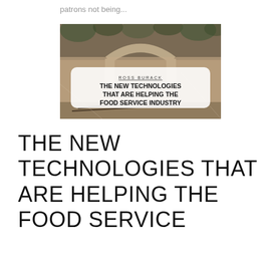patrons not being...
[Figure (photo): A sepia-toned photo of a stone arch with overgrown vegetation, featuring a white rounded-rectangle overlay with the text 'ROSS BURACK' in small caps and 'THE NEW TECHNOLOGIES THAT ARE HELPING THE FOOD SERVICE INDUSTRY' in bold black lettering.]
THE NEW TECHNOLOGIES THAT ARE HELPING THE FOOD SERVICE